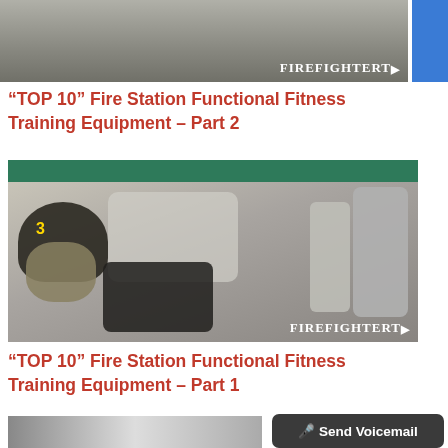[Figure (photo): Partial photo of firefighter gear on ground, cropped at top of page, with FirefighterT watermark]
“TOP 10” Fire Station Functional Fitness Training Equipment – Part 2
[Figure (photo): Firefighter gear laid out on ground including helmet, SCBA tanks, boots, and protective clothing, with green wall in background and FirefighterT watermark]
“TOP 10” Fire Station Functional Fitness Training Equipment – Part 1
[Figure (photo): Partially visible photo at bottom of page, appears to show a person]
Send Voicemail